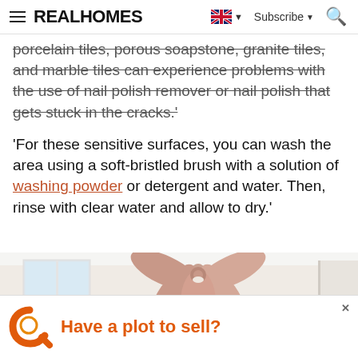REAL HOMES — Subscribe — Search
porcelain tiles, porous soapstone, granite tiles, and marble tiles can experience problems with the use of nail polish remover or nail polish that gets stuck in the cracks.'
'For these sensitive surfaces, you can wash the area using a soft-bristled brush with a solution of washing powder or detergent and water. Then, rinse with clear water and allow to dry.'
[Figure (photo): Interior room with pink ceiling fan with leaf-shaped blades, white walls with pink/peach lower half, window on left, doorframe on right]
[Figure (infographic): Advertisement banner reading 'Have a plot to sell?' with orange magnifying glass logo icon and close X button]